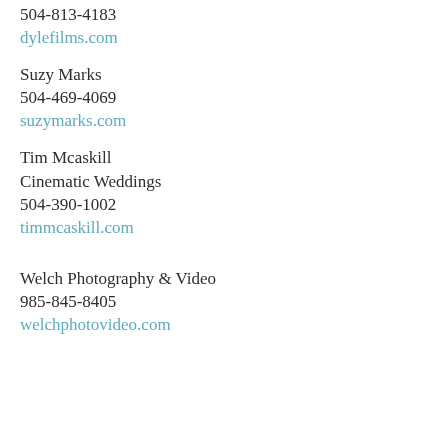504-813-4183
dylefilms.com
Suzy Marks
504-469-4069
suzymarks.com
Tim Mcaskill
Cinematic Weddings
504-390-1002
timmcaskill.com
Welch Photography & Video
985-845-8405
welchphotovideo.com